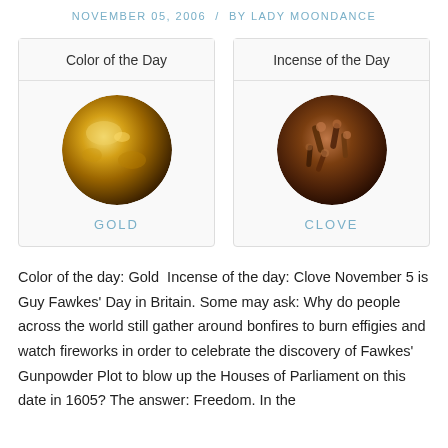NOVEMBER 05, 2006  /  BY LADY MOONDANCE
[Figure (other): Card showing Color of the Day: Gold (circular image of gold leaf/foil)]
[Figure (other): Card showing Incense of the Day: Clove (circular image of cloves)]
Color of the day: Gold Incense of the day: Clove November 5 is Guy Fawkes' Day in Britain. Some may ask: Why do people across the world still gather around bonfires to burn effigies and watch fireworks in order to celebrate the discovery of Fawkes' Gunpowder Plot to blow up the Houses of Parliament on this date in 1605? The answer: Freedom. In the